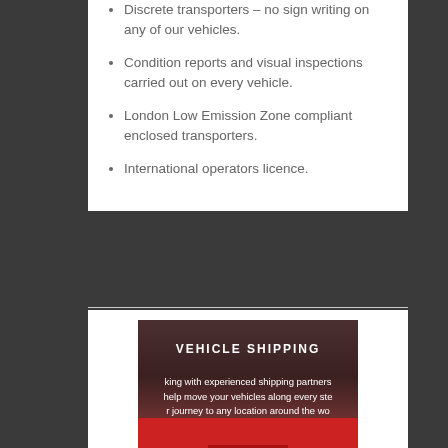Discrete transporters – no sign writing on any of our vehicles.
Condition reports and visual inspections carried out on every vehicle.
London Low Emission Zone compliant enclosed transporters.
International operators licence.
[Figure (photo): Vehicle shipping promotional image showing a red sports car (Ferrari) inside a transport vehicle or garage, with the title VEHICLE SHIPPING and text about working with experienced shipping partners to help move your vehicles along every step of your journey to any location around the world.]